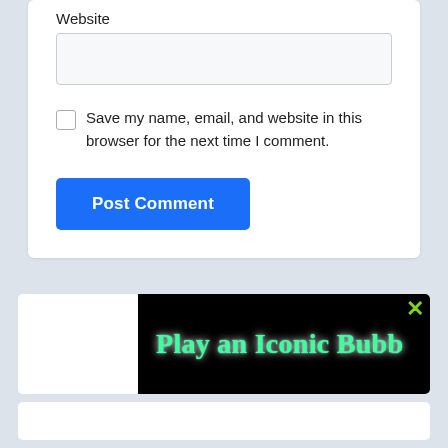Website
Save my name, email, and website in this browser for the next time I comment.
Post Comment
[Figure (screenshot): Advertisement banner with black background showing text 'Play an Iconic Bubb' in green serif font with a green X close button in the top right corner]